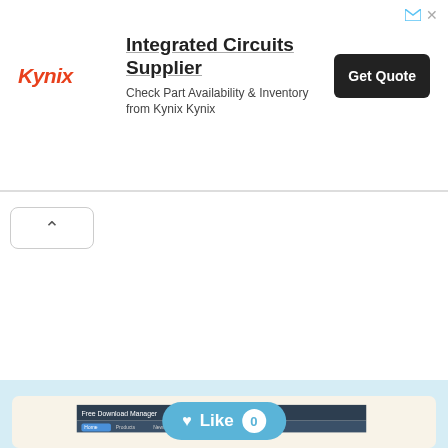[Figure (screenshot): Kynix Integrated Circuits Supplier advertisement banner with logo, headline, subtext, and Get Quote button]
[Figure (screenshot): Webpage screenshot showing Free Download Manager website with navigation, search section, and article thumbnails. Includes sitelike.org watermark and 'Scroll Top' label.]
[Figure (other): Like button with heart icon showing count of 0]